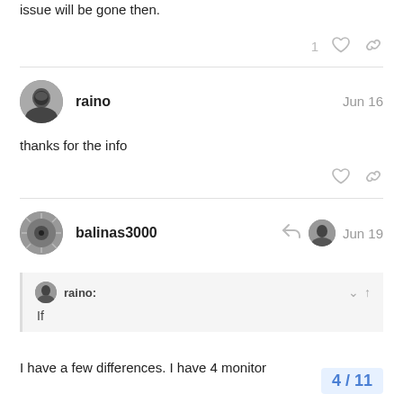issue will be gone then.
raino · Jun 16 · thanks for the info
balinas3000 · Jun 19
raino: If
I have a few differences. I have 4 monitor
4 / 11